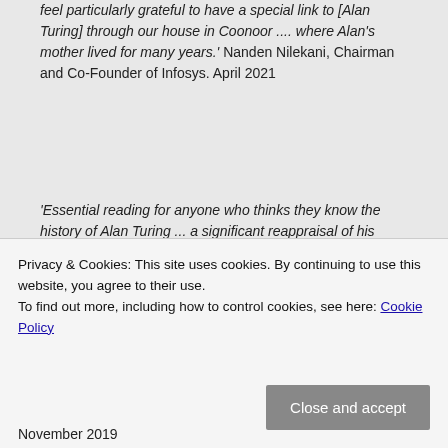feel particularly grateful to have a special link to [Alan Turing] through our house in Coonoor .... where Alan's mother lived for many years.' Nanden Nilekani, Chairman and Co-Founder of Infosys. April 2021
'Essential reading for anyone who thinks they know the history of Alan Turing ... a significant reappraisal of his meaning for us today.' Dr Tilly Blyth, Head of Collections, Science Museum. April 2021
'Turing ... November 2019
Privacy & Cookies: This site uses cookies. By continuing to use this website, you agree to their use. To find out more, including how to control cookies, see here: Cookie Policy
Close and accept